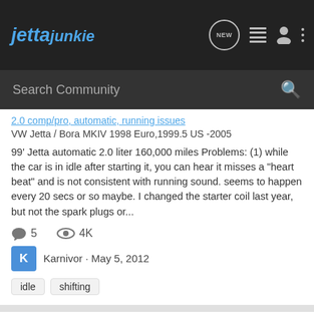Jetta Junkie
Search Community
2.0 comp/pro, automatic, running issues
VW Jetta / Bora MKIV 1998 Euro,1999.5 US -2005
99' Jetta automatic 2.0 liter 160,000 miles Problems: (1) while the car is in idle after starting it, you can hear it misses a "heart beat" and is not consistent with running sound. seems to happen every 20 secs or so maybe. I changed the starter coil last year, but not the spark plugs or...
5   4K
Karnivor · May 5, 2012
idle
shifting
Idle great give gas stalls
VW Jetta MKIII 1991–1998